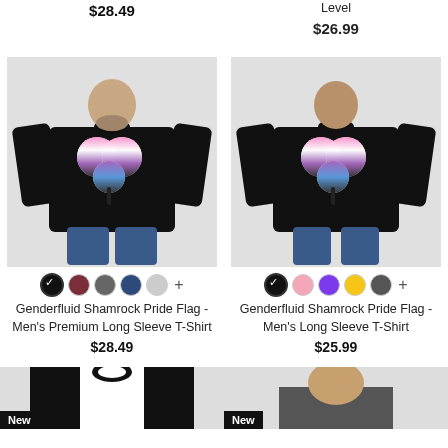$28.49
Level
$26.99
[Figure (photo): Man wearing black long sleeve t-shirt with genderfluid shamrock pride flag design]
[Figure (photo): Man wearing black long sleeve t-shirt with genderfluid shamrock pride flag design]
Genderfluid Shamrock Pride Flag - Men's Premium Long Sleeve T-Shirt
$28.49
Genderfluid Shamrock Pride Flag - Men's Long Sleeve T-Shirt
$25.99
[Figure (photo): Partial view of black and white baseball style shirt, New badge visible]
[Figure (photo): Partial view of man wearing shirt, New badge visible]